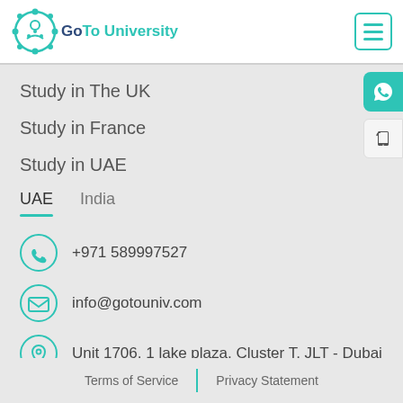[Figure (logo): GoTo University logo with teal gear/circuit icon and text 'GoTo University']
Study in The UK
Study in France
Study in UAE
UAE   India
+971 589997527
info@gotouniv.com
Unit 1706, 1 lake plaza, Cluster T, JLT - Dubai
Terms of Service | Privacy Statement